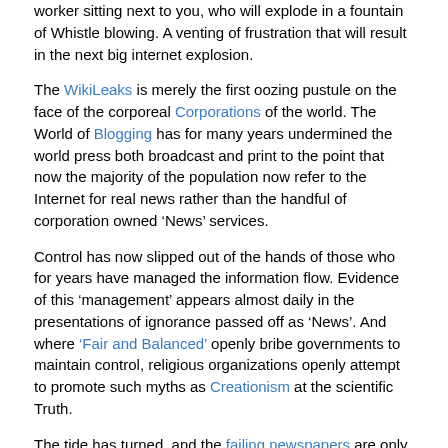worker sitting next to you, who will explode in a fountain of Whistle blowing. A venting of frustration that will result in the next big internet explosion.
The WikiLeaks is merely the first oozing pustule on the face of the corporeal Corporations of the world. The World of Blogging has for many years undermined the world press both broadcast and print to the point that now the majority of the population now refer to the Internet for real news rather than the handful of corporation owned ‘News’ services.
Control has now slipped out of the hands of those who for years have managed the information flow. Evidence of this ‘management’ appears almost daily in the presentations of ignorance passed off as ‘News’. And where ‘Fair and Balanced’ openly bribe governments to maintain control, religious organizations openly attempt to promote such myths as Creationism at the scientific Truth.
The tide has turned, and the failing newspapers are only the start. Watch for more WikiLeaks and Whistle Blower sites springing up, more Lawsuits more Smear campaigns as the giant attempts to swat the Whistleblowers who are biting it to death.